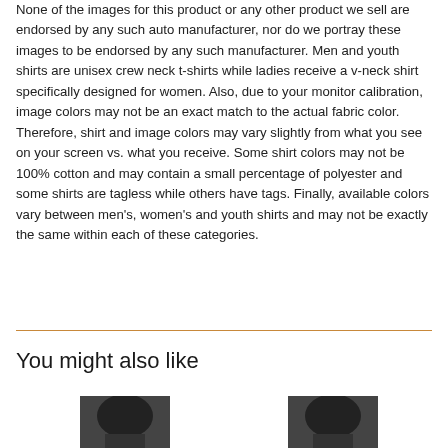None of the images for this product or any other product we sell are endorsed by any such auto manufacturer, nor do we portray these images to be endorsed by any such manufacturer. Men and youth shirts are unisex crew neck t-shirts while ladies receive a v-neck shirt specifically designed for women. Also, due to your monitor calibration, image colors may not be an exact match to the actual fabric color. Therefore, shirt and image colors may vary slightly from what you see on your screen vs. what you receive. Some shirt colors may not be 100% cotton and may contain a small percentage of polyester and some shirts are tagless while others have tags. Finally, available colors vary between men's, women's and youth shirts and may not be exactly the same within each of these categories.
You might also like
[Figure (photo): Thumbnail image of a dark-colored shirt product]
[Figure (photo): Thumbnail image of a dark-colored shirt product]